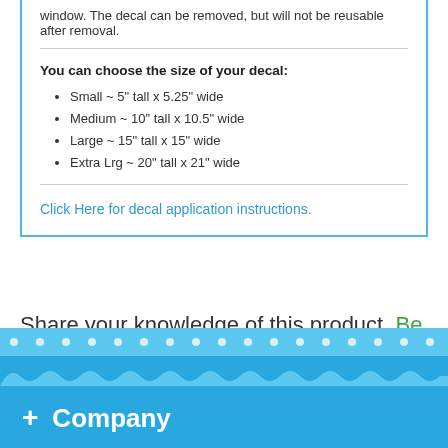window. The decal can be removed, but will not be reusable after removal.
You can choose the size of your decal:
Small ~ 5" tall x 5.25" wide
Medium ~ 10" tall x 10.5" wide
Large ~ 15" tall x 15" wide
Extra Lrg ~ 20" tall x 21" wide
Click Here for decal application instructions.
Share your knowledge of this product. Be the first to write a review »
+ Company